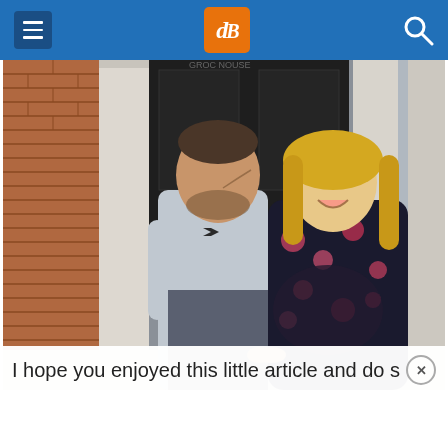dPS navigation header
[Figure (photo): A couple smiling at each other outside a building with white columns, brick wall on the left, and a dark door behind them. The man wears a light blue shirt with a bow tie and grey trousers; the woman wears a dark floral dress and has blonde hair.]
I hope you enjoyed this little article and do shar ×